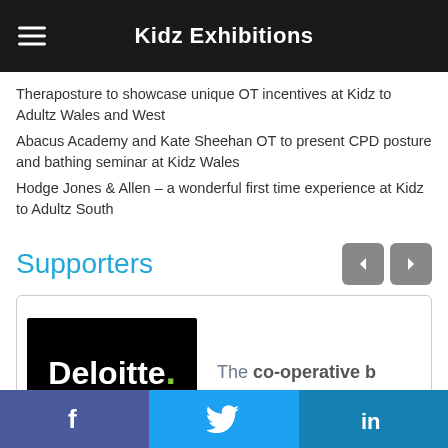Kidz Exhibitions
Theraposture to showcase unique OT incentives at Kidz to Adultz Wales and West
Abacus Academy and Kate Sheehan OT to present CPD posture and bathing seminar at Kidz Wales
Hodge Jones & Allen – a wonderful first time experience at Kidz to Adultz South
Supporters
[Figure (logo): Deloitte logo on black background with green dot]
[Figure (logo): The co-operative bank logo (partially visible)]
f   (Twitter bird)   in